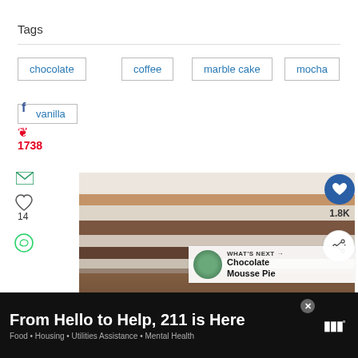Tags
chocolate
coffee
marble cake
mocha
vanilla
1738
14
1.8K
[Figure (photo): Close-up photo of a slice of marble cake with chocolate and vanilla swirls, topped with chocolate frosting]
WHAT'S NEXT → Chocolate Mousse Pie
From Hello to Help, 211 is Here
Food • Housing • Utilities Assistance • Mental Health